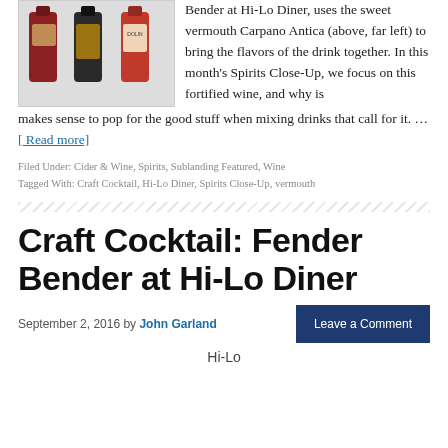[Figure (photo): Three wine/vermouth bottles side by side]
Bender at Hi-Lo Diner, uses the sweet vermouth Carpano Antica (above, far left) to bring the flavors of the drink together. In this month's Spirits Close-Up, we focus on this fortified wine, and why is makes sense to pop for the good stuff when mixing drinks that call for it. … [ Read more]
Filed Under: Cider & Wine, Spirits, Sublanding Featured, Wine
Tagged With: Craft Cocktail, Hi-Lo Diner, Spirits Close-Up, vermouth
Craft Cocktail: Fender Bender at Hi-Lo Diner
September 2, 2016 by John Garland
Leave a Comment
Hi-Lo